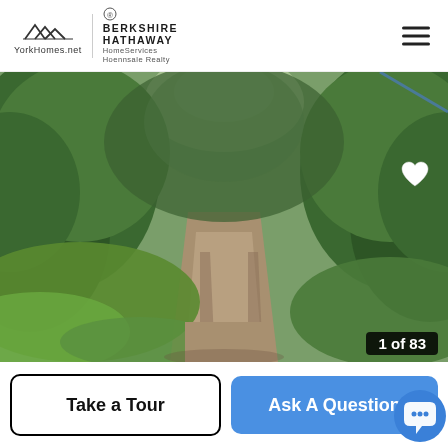YorkHomes.net | Berkshire Hathaway HomeServices Hoennsale Realty
[Figure (photo): A dirt road or driveway leading through dense green trees and foliage, photographed from a vehicle. The scene is lush and wooded with bright green summer vegetation on both sides of the dirt path.]
1 of 83
Take a Tour
Ask A Question